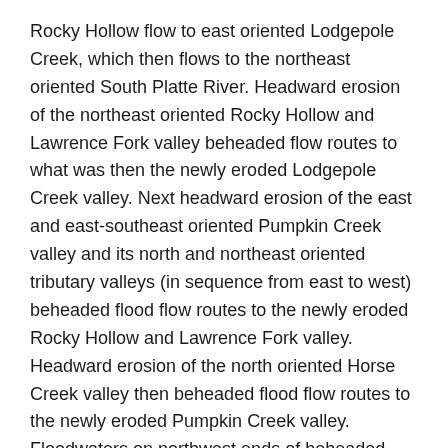Rocky Hollow flow to east oriented Lodgepole Creek, which then flows to the northeast oriented South Platte River. Headward erosion of the northeast oriented Rocky Hollow and Lawrence Fork valley beheaded flow routes to what was then the newly eroded Lodgepole Creek valley. Next headward erosion of the east and east-southeast oriented Pumpkin Creek valley and its north and northeast oriented tributary valleys (in sequence from east to west) beheaded flood flow routes to the newly eroded Rocky Hollow and Lawrence Fork valley. Headward erosion of the north oriented Horse Creek valley then beheaded flood flow routes to the newly eroded Pumpkin Creek valley. Floodwaters on northwest ends of beheaded flood flow routes reversed flow direction to create the northwest oriented Owl Creek and Kiowa Creek drainage routes.
Owl Creek Spring Basin drainage divide